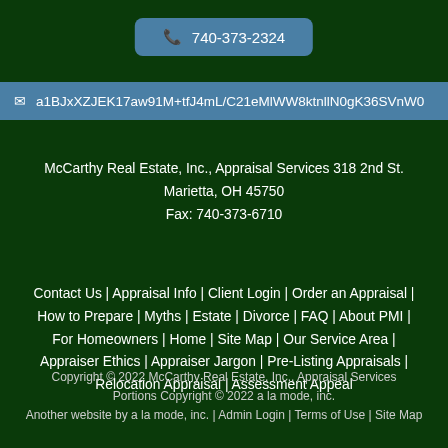📞 740-373-2324
✉ a1BJxXZJEK17aw91M+tfJ4mL/C21eMlWW8ktnllN0gK36SVnW0...
McCarthy Real Estate, Inc., Appraisal Services 318 2nd St. Marietta, OH 45750 Fax: 740-373-6710
Contact Us | Appraisal Info | Client Login | Order an Appraisal | How to Prepare | Myths | Estate | Divorce | FAQ | About PMI | For Homeowners | Home | Site Map | Our Service Area | Appraiser Ethics | Appraiser Jargon | Pre-Listing Appraisals | Relocation Appraisal | Assessment Appeal
Copyright © 2022 McCarthy Real Estate, Inc., Appraisal Services Portions Copyright © 2022 a la mode, inc. Another website by a la mode, inc. | Admin Login | Terms of Use | Site Map